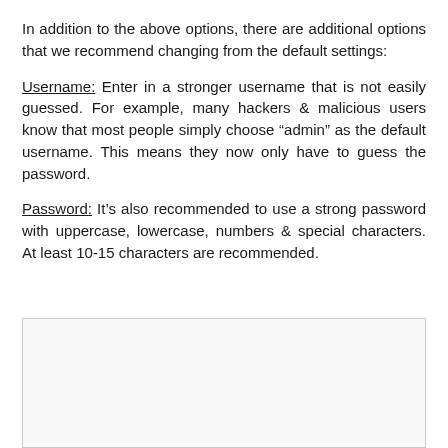In addition to the above options, there are additional options that we recommend changing from the default settings:
Username: Enter in a stronger username that is not easily guessed. For example, many hackers & malicious users know that most people simply choose “admin” as the default username. This means they now only have to guess the password.
Password: It’s also recommended to use a strong password with uppercase, lowercase, numbers & special characters. At least 10-15 characters are recommended.
[Figure (screenshot): A screenshot or image box partially visible at the bottom of the page, with a light grey background and border.]